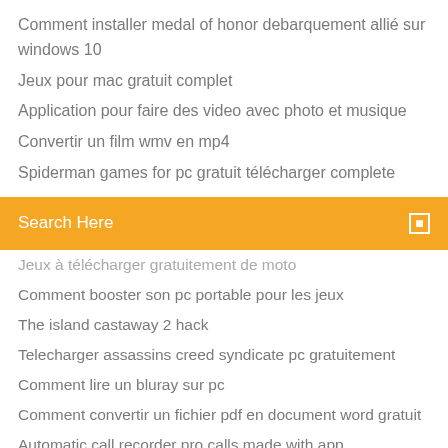Comment installer medal of honor debarquement allié sur windows 10
Jeux pour mac gratuit complet
Application pour faire des video avec photo et musique
Convertir un film wmv en mp4
Spiderman games for pc gratuit télécharger complete
[Figure (screenshot): Orange search bar with 'Search Here' placeholder text and a search icon]
Jeux à télécharger gratuitement de moto
Comment booster son pc portable pour les jeux
The island castaway 2 hack
Telecharger assassins creed syndicate pc gratuitement
Comment lire un bluray sur pc
Comment convertir un fichier pdf en document word gratuit
Automatic call recorder pro calls made with app
Logiciel gravure blu ray mac gratuit
Epson printer driver gratuit télécharger
Télécharger et installer windows 10 1803
Guedins attack on titan fan game